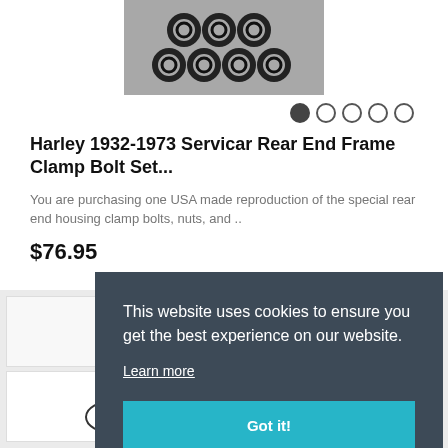[Figure (photo): Photo of bolt set hardware — rings and washers arranged on silver packaging]
[Figure (other): Carousel navigation dots — 5 dots, first one filled/active]
Harley 1932-1973 Servicar Rear End Frame Clamp Bolt Set...
You are purchasing one USA made reproduction of the special rear end housing clamp bolts, nuts, and ..
$76.95
[Figure (photo): Partial product thumbnail images in a grid below the main product listing]
This website uses cookies to ensure you get the best experience on our website.
Learn more
Got it!